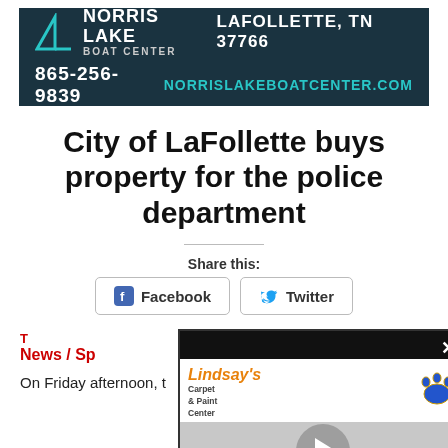[Figure (advertisement): Norris Lake Boat Center advertisement banner. Dark teal/navy background. Shows logo with chevron, business name 'NORRIS LAKE BOAT CENTER', location 'LAFOLLETTE, TN 37766', phone '865-256-9839', website 'NORRISLAKEBOATCENTER.COM'.]
City of LaFollette buys property for the police department
Share this:
Facebook   Twitter
T...
News / Sp...
On Friday afternoon, t...
[Figure (advertisement): Lindsay's Carpet & Paint Center video advertisement overlay. Dark border, white background. Shows company name in orange italic, blue paw print logo, play button on gray background, call info '423-562-6682', address '110 E Central Ave.']